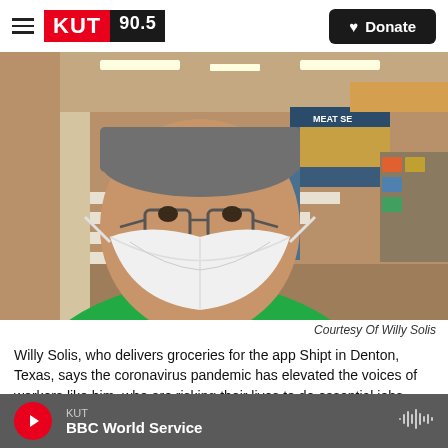KUT 90.5 | Donate
[Figure (photo): A man wearing a white N95 mask and a green Shipt t-shirt takes a selfie in a grocery store with empty shelves visible behind him.]
Courtesy Of Willy Solis
Willy Solis, who delivers groceries for the app Shipt in Denton, Texas, says the coronavirus pandemic has elevated the voices of workers like him, who are risking their lives to do essential jobs.
KUT | BBC World Service